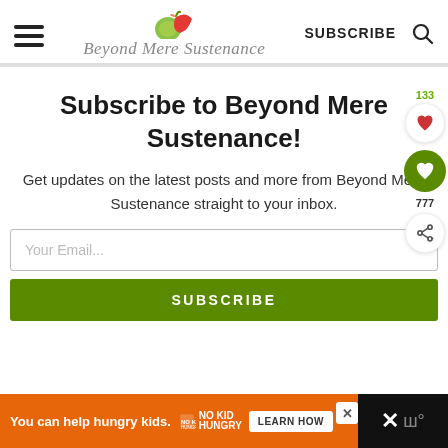Beyond Mere Sustenance — SUBSCRIBE
Subscribe to Beyond Mere Sustenance!
Get updates on the latest posts and more from Beyond Mere Sustenance straight to your inbox.
Your Email...
SUBSCRIBE
You can help hungry kids. NO KID HUNGRY LEARN HOW